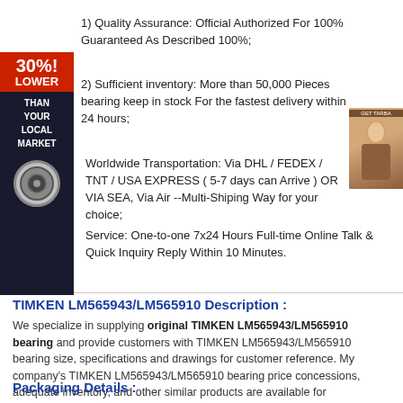1) Quality Assurance: Official Authorized For 100% Guaranteed As Described 100%;
2) Sufficient inventory: More than 50,000 Pieces bearing keep in stock For the fastest delivery within 24 hours;
[Figure (infographic): Red and dark banner on left side reading '30%! LOWER THAN YOUR LOCAL MARKET' with a circular bearing logo at the bottom]
[Figure (photo): Small portrait photo of a woman on the right side]
3) Worldwide Transportation: Via DHL / FEDEX / TNT / USA EXPRESS ( 5-7 days can Arrive ) OR VIA SEA, Via Air --Multi-Shiping Way for your choice;
4) Service: One-to-one 7x24 Hours Full-time Online Talk & Quick Inquiry Reply Within 10 Minutes.
TIMKEN LM565943/LM565910 Description :
We specialize in supplying original TIMKEN LM565943/LM565910 bearing and provide customers with TIMKEN LM565943/LM565910 bearing size, specifications and drawings for customer reference. My company's TIMKEN LM565943/LM565910 bearing price concessions, adequate inventory, and other similar products are available for recommendation
Packaging Details :
1. Industrial tube packing + cartons + pallets
2. Individual colorful or white box + carton + pallets